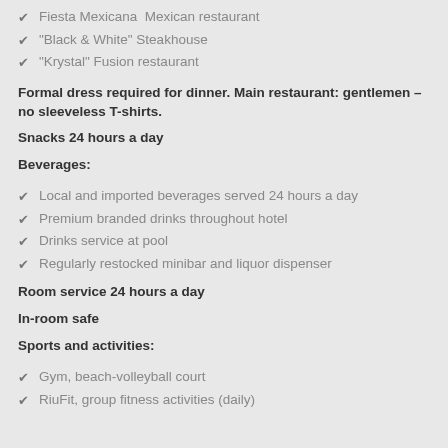Fiesta Mexicana  Mexican restaurant
"Black & White" Steakhouse
"Krystal" Fusion restaurant
Formal dress required for dinner. Main restaurant: gentlemen – no sleeveless T-shirts.
Snacks 24 hours a day
Beverages:
Local and imported beverages served 24 hours a day
Premium branded drinks throughout hotel
Drinks service at pool
Regularly restocked minibar and liquor dispenser
Room service 24 hours a day
In-room safe
Sports and activities:
Gym, beach-volleyball court
RiuFit, group fitness activities (daily)